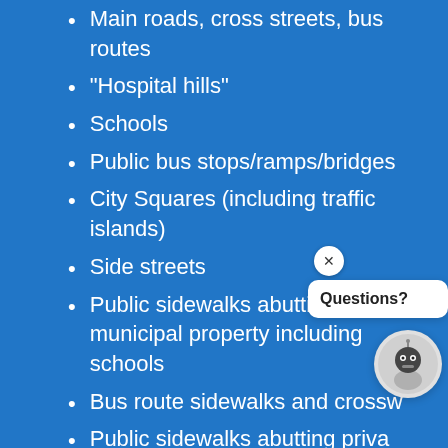Main roads, cross streets, bus routes
“Hospital hills”
Schools
Public bus stops/ramps/bridges
City Squares (including traffic islands)
Side streets
Public sidewalks abutting municipal property including schools
Bus route sidewalks and crossw…
Public sidewalks abutting private properties. The City of Somerville will assume property owners’ responsibilities for sidewalks abutting private properties if owners have failed to clear their … after … than 24…